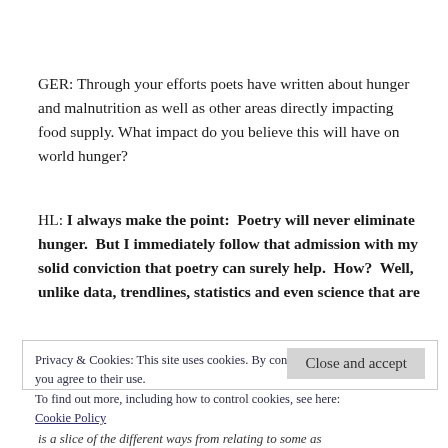GER: Through your efforts poets have written about hunger and malnutrition as well as other areas directly impacting food supply. What impact do you believe this will have on world hunger?
HL: I always make the point:  Poetry will never eliminate hunger.  But I immediately follow that admission with my solid conviction that poetry can surely help.  How?  Well, unlike data, trendlines, statistics and even science that are
Privacy & Cookies: This site uses cookies. By continuing to use this website, you agree to their use.
To find out more, including how to control cookies, see here:
Cookie Policy
Close and accept
is a slice of the different ways from relating to some as